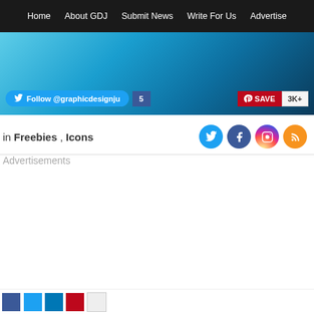Home   About GDJ   Submit News   Write For Us   Advertise
[Figure (screenshot): Website banner with social share bar showing Twitter Follow @graphicdesignju button, a partial share count (5...), Pinterest SAVE button, and 3K+ count on a blue/teal gradient background]
in Freebies , Icons
[Figure (illustration): Four social media icons in circles: Twitter (blue), Facebook (dark blue), Instagram (gradient), RSS (orange)]
Advertisements
Share buttons: Facebook, Twitter, LinkedIn, Pinterest, More